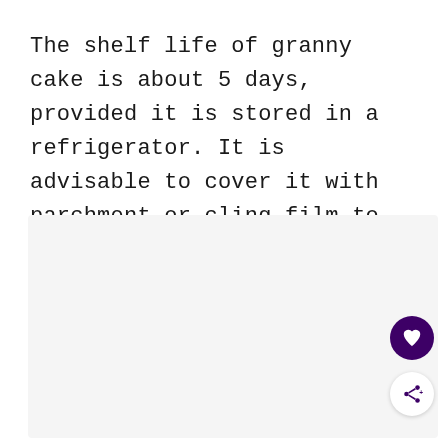The shelf life of granny cake is about 5 days, provided it is stored in a refrigerator. It is advisable to cover it with parchment or cling film to prevent it from drying out.